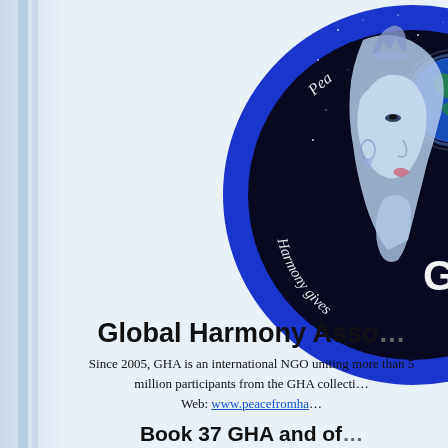[Figure (logo): GHA (Global Harmony Association) circular logo with a woman's profile face in blue/silver tones against a starry night sky background, holding a glowing Earth. Text around the circle reads 'Peace... Harmony gives...' and 'GHA' appears prominently.]
Global Harmony Asso...
Since 2005, GHA is an international NGO uniting more than 5 million participants from the GHA collecti... Web: www.peacefromha...
Book 37 GHA and of...